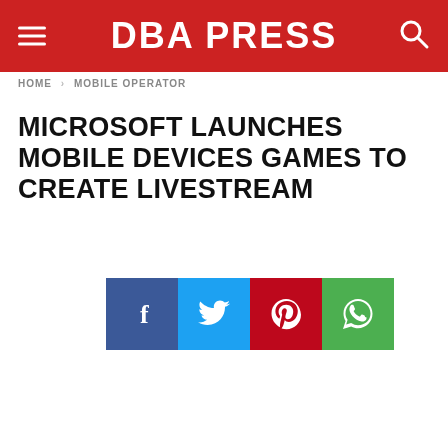DBA PRESS
HOME > MOBILE OPERATOR
MICROSOFT LAUNCHES MOBILE DEVICES GAMES TO CREATE LIVESTREAM
[Figure (infographic): Social media share buttons: Facebook (blue), Twitter (light blue), Pinterest (red), WhatsApp (green)]